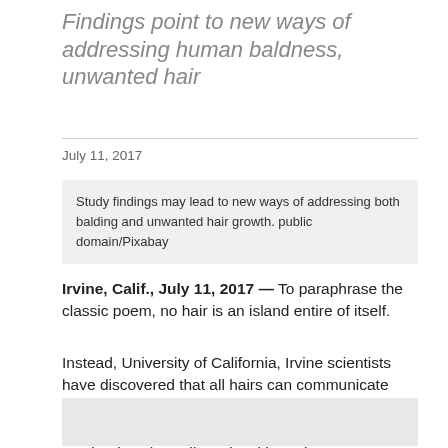Findings point to new ways of addressing human baldness, unwanted hair
July 11, 2017
Study findings may lead to new ways of addressing both balding and unwanted hair growth. public domain/Pixabay
Irvine, Calif., July 11, 2017 — To paraphrase the classic poem, no hair is an island entire of itself.
Instead, University of California, Irvine scientists have discovered that all hairs can communicate with each other and grow in coordination across the entire body. This is regulated by a single molecular mechanism that adjusts by skin region to ensure efficient hair growth – so no bald patches form – and enable distinct hair densities in different body areas.
[Figure (photo): Image placeholder at bottom of page]